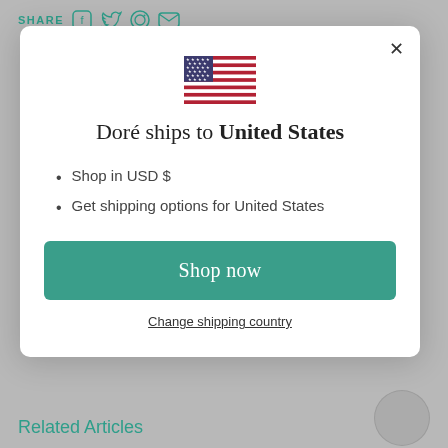SHARE
[Figure (illustration): US flag SVG illustration]
Doré ships to United States
Shop in USD $
Get shipping options for United States
Shop now
Change shipping country
Related Articles